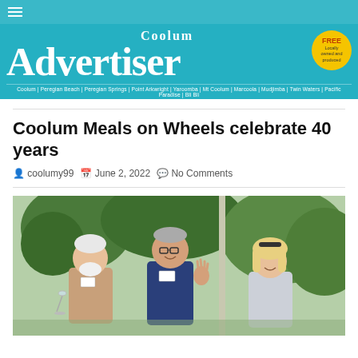Coolum Advertiser — navigation bar
[Figure (logo): Coolum Advertiser newspaper masthead on teal/cyan background. Large white serif text reading 'Coolum' above 'Advertiser'. Yellow circular badge top-right reading 'FREE Locally owned and produced'. Locations bar below reading: Coolum | Peregian Beach | Peregian Springs | Point Arkwright | Yaroomba | Mt Coolum | Marcoola | Mudjimba | Twin Waters | Pacific Paradise | Bli Bli]
Coolum Meals on Wheels celebrate 40 years
coolumy99   June 2, 2022   No Comments
[Figure (photo): Outdoor photo of three people standing together in a garden setting. Left: older man with white beard holding a champagne glass and wearing a name badge. Centre: tall man with glasses waving, wearing a navy sweater and name badge. Right: woman with blonde hair and sunglasses on head, wearing a light grey top.]